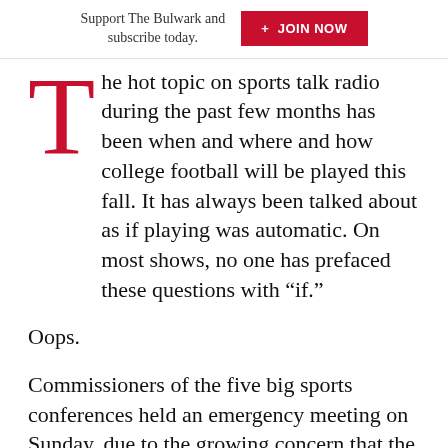Support The Bulwark and subscribe today. + JOIN NOW
The hot topic on sports talk radio during the past few months has been when and where and how college football will be played this fall. It has always been talked about as if playing was automatic. On most shows, no one has prefaced these questions with “if.”
Oops.
Commissioners of the five big sports conferences held an emergency meeting on Sunday, due to the growing concern that the football season and other fall sports might need to be put off until